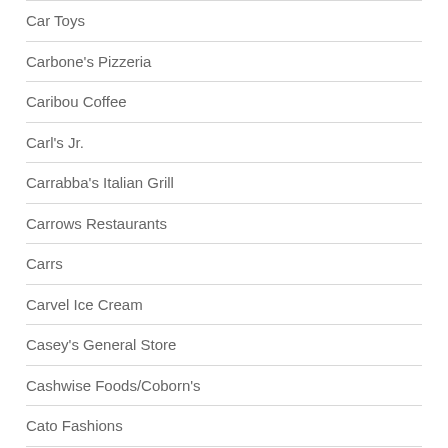Car Toys
Carbone's Pizzeria
Caribou Coffee
Carl's Jr.
Carrabba's Italian Grill
Carrows Restaurants
Carrs
Carvel Ice Cream
Casey's General Store
Cashwise Foods/Coborn's
Cato Fashions
Cattle Baron
Cattlemens
Central Market